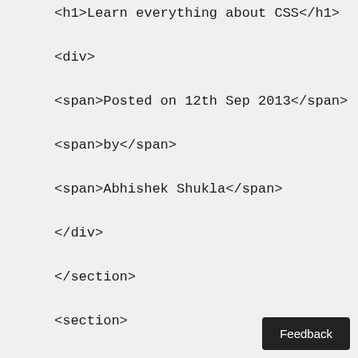<h1>Learn everything about CSS</h1>
<div>
<span>Posted on 12th Sep 2013</span>
<span>by</span>
<span>Abhishek Shukla</span>
</div>
</section>
<section>
<p>&nbsp;</p>
<p>In this section we will learn...